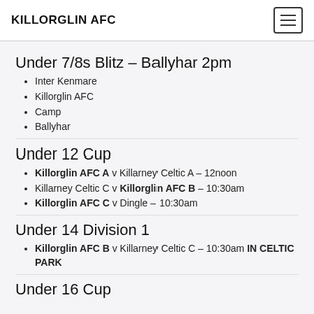KILLORGLIN AFC
Under 7/8s Blitz – Ballyhar 2pm
Inter Kenmare
Killorglin AFC
Camp
Ballyhar
Under 12 Cup
Killorglin AFC A v Killarney Celtic A – 12noon
Killarney Celtic C v Killorglin AFC B – 10:30am
Killorglin AFC C v Dingle – 10:30am
Under 14 Division 1
Killorglin AFC B v Killarney Celtic C – 10:30am IN CELTIC PARK
Under 16 Cup